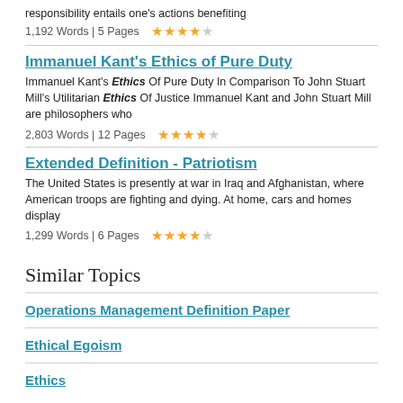responsibility entails one's actions benefiting
1,192 Words | 5 Pages  ★★★★☆
Immanuel Kant's Ethics of Pure Duty
Immanuel Kant's Ethics Of Pure Duty In Comparison To John Stuart Mill's Utilitarian Ethics Of Justice Immanuel Kant and John Stuart Mill are philosophers who
2,803 Words | 12 Pages  ★★★★☆
Extended Definition - Patriotism
The United States is presently at war in Iraq and Afghanistan, where American troops are fighting and dying. At home, cars and homes display
1,299 Words | 6 Pages  ★★★★☆
Similar Topics
Operations Management Definition Paper
Ethical Egoism
Ethics